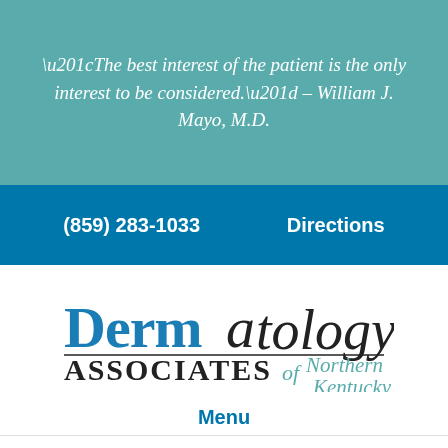“The best interest of the patient is the only interest to be considered.” – William J. Mayo, M.D.
(859) 283-1033
Directions
[Figure (logo): Dermatology Associates of Northern Kentucky logo with stylized text]
Menu
Message us